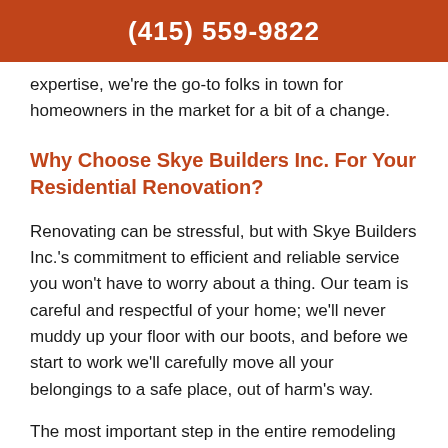(415) 559-9822
expertise, we're the go-to folks in town for homeowners in the market for a bit of a change.
Why Choose Skye Builders Inc. For Your Residential Renovation?
Renovating can be stressful, but with Skye Builders Inc.'s commitment to efficient and reliable service you won't have to worry about a thing. Our team is careful and respectful of your home; we'll never muddy up your floor with our boots, and before we start to work we'll carefully move all your belongings to a safe place, out of harm's way.
The most important step in the entire remodeling process is the first one, where Skye Builders Inc. sits down to discuss your specific needs and hopes for the